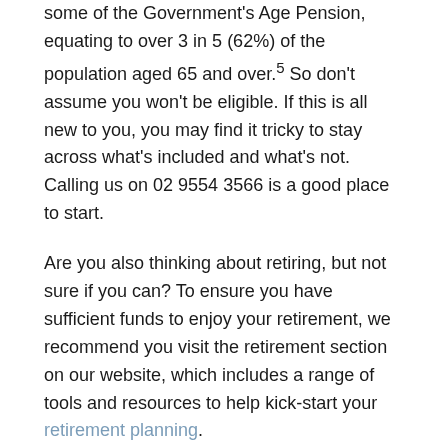some of the Government's Age Pension, equating to over 3 in 5 (62%) of the population aged 65 and over.5 So don't assume you won't be eligible. If this is all new to you, you may find it tricky to stay across what's included and what's not. Calling us on 02 9554 3566 is a good place to start.
Are you also thinking about retiring, but not sure if you can? To ensure you have sufficient funds to enjoy your retirement, we recommend you visit the retirement section on our website, which includes a range of tools and resources to help kick-start your retirement planning.
1 Australian Government Department of Human Services – Age Pension: https://www.humanservices.gov.au/individuals/services/centrelink/age-pension
2 Australian Government Department of Human Services – Residence rules for Age